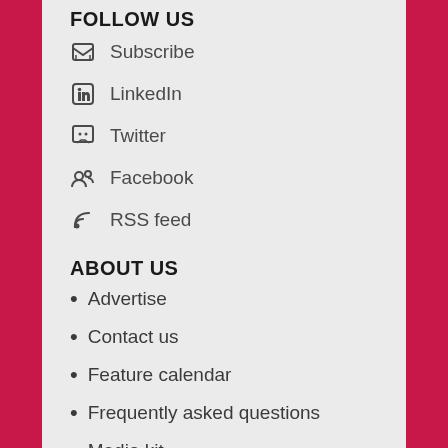FOLLOW US
Subscribe
LinkedIn
Twitter
Facebook
RSS feed
ABOUT US
Advertise
Contact us
Feature calendar
Frequently asked questions
Media kit
Our sites